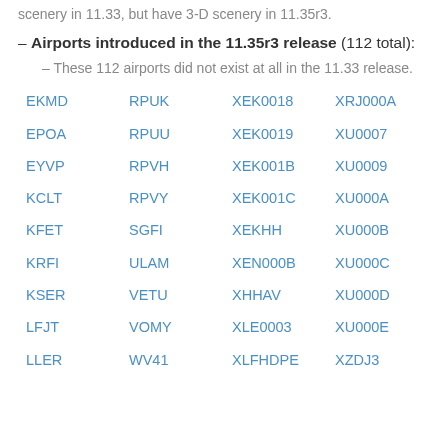scenery in 11.33, but have 3-D scenery in 11.35r3.
– Airports introduced in the 11.35r3 release (112 total):
– These 112 airports did not exist at all in the 11.33 release.
| EKMD | RPUK | XEK0018 | XRJ000A |
| EPOA | RPUU | XEK0019 | XU0007 |
| EYVP | RPVH | XEK001B | XU0009 |
| KCLT | RPVY | XEK001C | XU000A |
| KFET | SGFI | XEKHH | XU000B |
| KRFI | ULAM | XEN000B | XU000C |
| KSER | VETU | XHHAV | XU000D |
| LFJT | VOMY | XLE0003 | XU000E |
| LLER | WV41 | XLFHDPE | XZDJ3 |